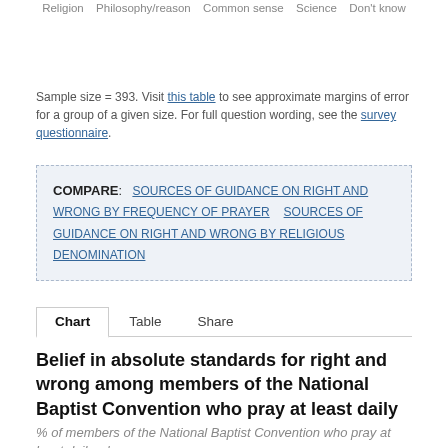Religion   Philosophy/reason   Common sense   Science   Don't know
Sample size = 393. Visit this table to see approximate margins of error for a group of a given size. For full question wording, see the survey questionnaire.
COMPARE:  SOURCES OF GUIDANCE ON RIGHT AND WRONG BY FREQUENCY OF PRAYER   SOURCES OF GUIDANCE ON RIGHT AND WRONG BY RELIGIOUS DENOMINATION
Chart   Table   Share
Belief in absolute standards for right and wrong among members of the National Baptist Convention who pray at least daily
% of members of the National Baptist Convention who pray at least daily who say...